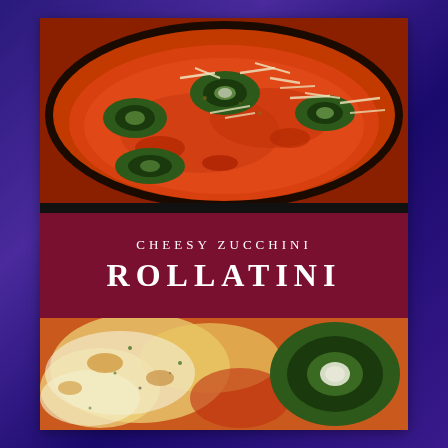[Figure (photo): Top photo: zucchini rolls (rollatini) cooking in a dark skillet with tomato sauce and shredded cheese on top, viewed from above]
CHEESY ZUCCHINI ROLLATINI
[Figure (photo): Bottom photo: close-up of baked cheesy zucchini rollatini with melted cheese and tomato sauce, a rolled zucchini slice prominent on the right]